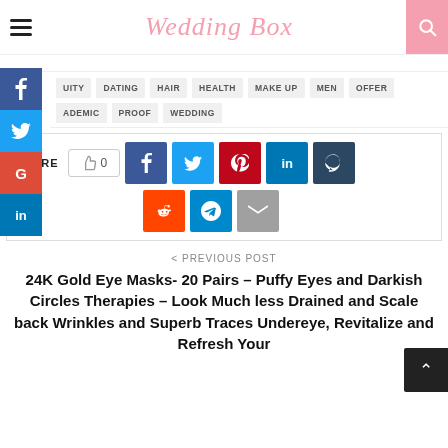Wedding Box
BEAUTY  DATING  HAIR  HEALTH  MAKE UP  MEN  OFFER  PANDEMIC  PROOF  WEDDING
[Figure (screenshot): Social share bar with like count (0), Facebook, Twitter, Pinterest, LinkedIn, Tumblr, Reddit, Telegram, Email icon buttons]
< PREVIOUS POST
24K Gold Eye Masks- 20 Pairs – Puffy Eyes and Darkish Circles Therapies – Look Much less Drained and Scale back Wrinkles and Superb Traces Undereye, Revitalize and Refresh Your